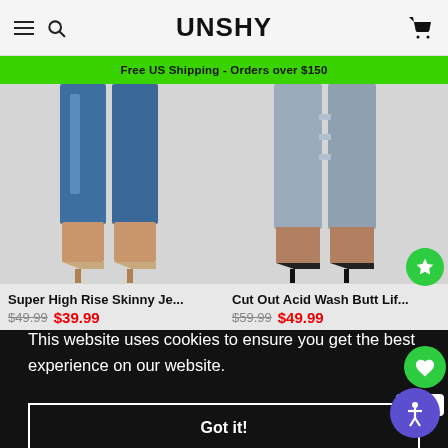UNSHY - navigation header with hamburger menu, search, and cart icons
Free US Shipping - Orders over $150
[Figure (photo): Lower body photo showing blue skinny jeans and beige strappy high heels on a light background]
Super High Rise Skinny Je...
$49.99 $39.99
[Figure (photo): Lower body photo showing acid wash cut-out jeans and black strappy high heels on a light background]
Cut Out Acid Wash Butt Lif...
$59.99 $49.99
This website uses cookies to ensure you get the best experience on our website.
Got it!